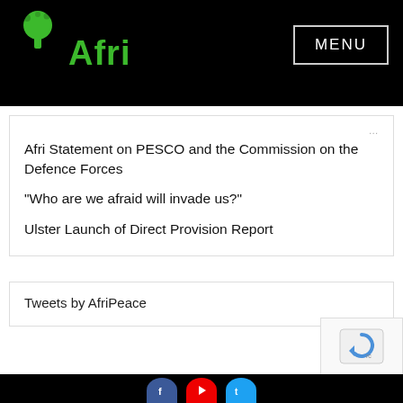[Figure (logo): Afri logo with green tree icon and green bold text 'Afri' on black background]
MENU
Afri Statement on PESCO and the Commission on the Defence Forces
“Who are we afraid will invade us?”
Ulster Launch of Direct Provision Report
Tweets by AfriPeace
[Figure (logo): reCAPTCHA widget partially visible in bottom right]
Footer with social media icons: Facebook, YouTube, Twitter